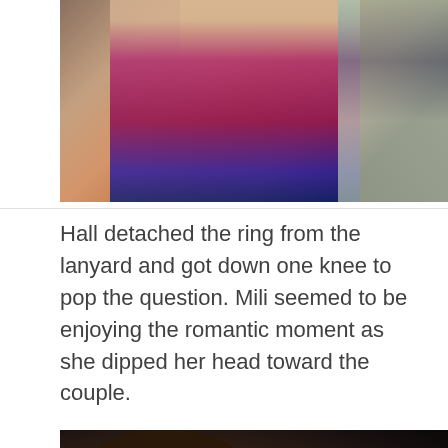[Figure (photo): Photo of a woman with blonde hair wearing a pink/magenta shirt, appearing to be indoors near a doorway. A second scene visible at right.]
Hall detached the ring from the lanyard and got down one knee to pop the question. Mili seemed to be enjoying the romantic moment as she dipped her head toward the couple.
[Figure (photo): Dark photo showing two people close together — a young man with curly dark hair on the left and another person wearing a black and white headband/hat on the right.]